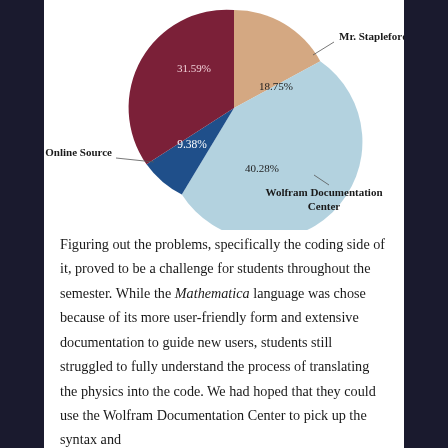[Figure (pie-chart): ]
Figuring out the problems, specifically the coding side of it, proved to be a challenge for students throughout the semester. While the Mathematica language was chose because of its more user-friendly form and extensive documentation to guide new users, students still struggled to fully understand the process of translating the physics into the code. We had hoped that they could use the Wolfram Documentation Center to pick up the syntax and